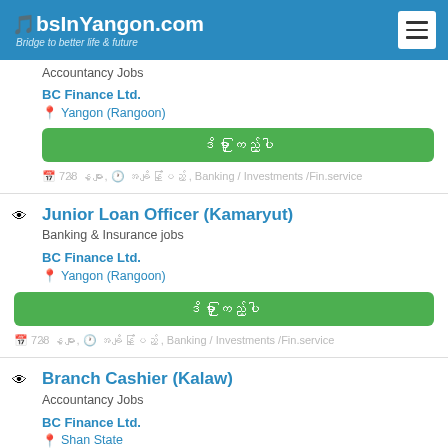JobsInYangon.com — Bridge to better life & future
Accountancy Jobs
BC Finance Ltd.
Yangon (Rangoon)
ဒိမှာ ကြည့်ပါ
728 နေ့များ, အချိန်ပြည့် , Banking / Investments /Fin.service
Junior Loan Officer (Kamaryut)
Banking & Insurance jobs
BC Finance Ltd.
Yangon (Rangoon)
ဒိမှာ ကြည့်ပါ
728 နေ့များ, အချိန်ပြည့် , Banking / Investments /Fin.service
Branch Cashier (Kalaw)
Accountancy Jobs
BC Finance Ltd.
Shan State